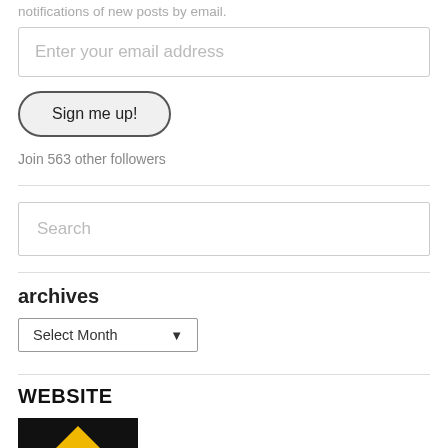notifications of new posts by email.
Enter your email address
Sign me up!
Join 563 other followers
Search
archives
Select Month
WEBSITE
[Figure (logo): Black background with a yellow/gold triangle logo]